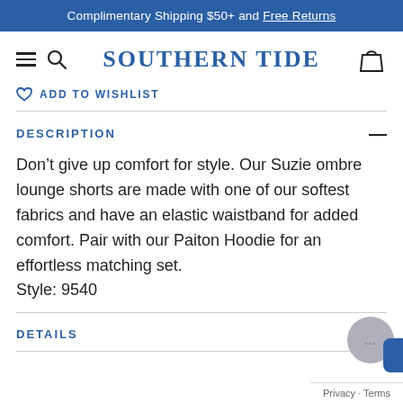Complimentary Shipping $50+ and Free Returns
SOUTHERN TIDE
ADD TO WISHLIST
DESCRIPTION
Don't give up comfort for style. Our Suzie ombre lounge shorts are made with one of our softest fabrics and have an elastic waistband for added comfort. Pair with our Paiton Hoodie for an effortless matching set.
Style: 9540
DETAILS